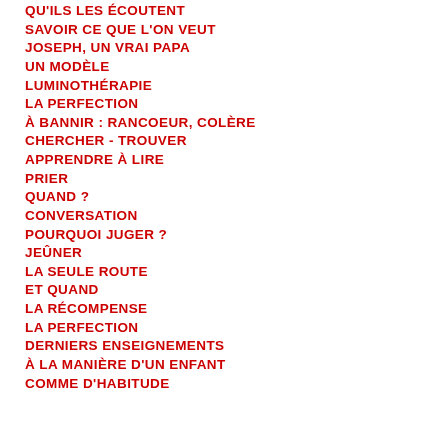QU'ILS LES ÉCOUTENT
SAVOIR CE QUE L'ON VEUT
JOSEPH, UN VRAI PAPA
UN MODÈLE
LUMINOTHÉRAPIE
LA PERFECTION
À BANNIR : RANCOEUR, COLÈRE
CHERCHER - TROUVER
APPRENDRE À LIRE
PRIER
QUAND ?
CONVERSATION
POURQUOI JUGER ?
JEÛNER
LA SEULE ROUTE
ET QUAND
LA RÉCOMPENSE
LA PERFECTION
DERNIERS ENSEIGNEMENTS
À LA MANIÈRE D'UN ENFANT
COMME D'HABITUDE